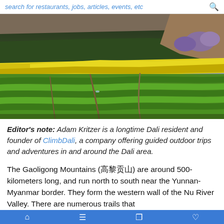search for restaurants, jobs, articles, events, etc
[Figure (photo): Terraced green fields with yellow flowering crops in the background, with forested hills behind them — a Yunnan agricultural landscape.]
Editor's note: Adam Kritzer is a longtime Dali resident and founder of ClimbDali, a company offering guided outdoor trips and adventures in and around the Dali area.
The Gaoligong Mountains (高黎贡山) are around 500-kilometers long, and run north to south near the Yunnan-Myanmar border. They form the western wall of the Nu River Valley. There are numerous trails that
Navigation icons